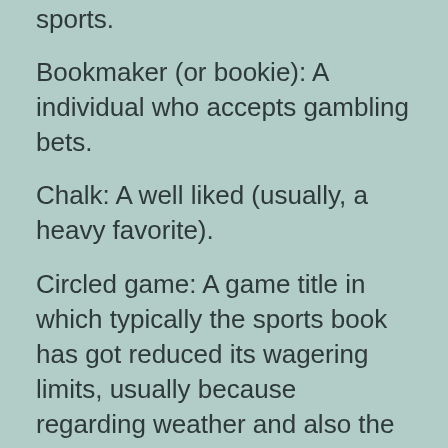sports.
Bookmaker (or bookie): A individual who accepts gambling bets.
Chalk: A well liked (usually, a heavy favorite).
Circled game: A game title in which typically the sports book has got reduced its wagering limits, usually because regarding weather and also the unsure status of wounded players.
Futures: A new type of bet involving the outcome regarding a season or how a specific team or person will perform during the period